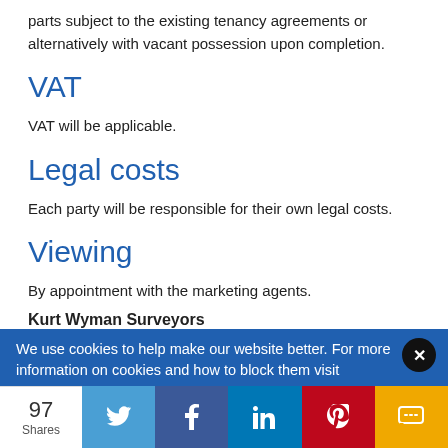parts subject to the existing tenancy agreements or alternatively with vacant possession upon completion.
VAT
VAT will be applicable.
Legal costs
Each party will be responsible for their own legal costs.
Viewing
By appointment with the marketing agents.
Kurt Wyman Surveyors
We use cookies to help make our website better. For more information on cookies and how to block them visit
97 Shares | Twitter | Facebook | LinkedIn | Pinterest | SMS